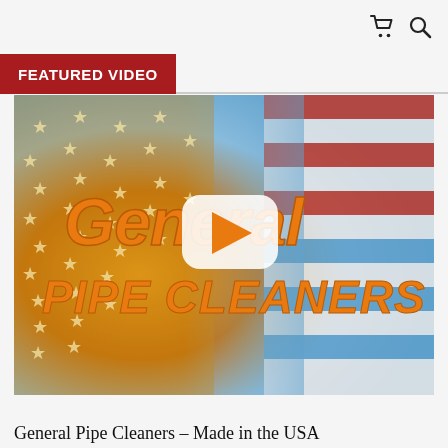cart and search icons
FEATURED VIDEO
[Figure (screenshot): Video thumbnail for General Pipe Cleaners - Made in the USA promotional video. Background shows an American flag with stars (orange/gold stars on left, red/white/blue stripes on right). Large orange italic text reads 'General' on top and 'PIPE CLEANERS' below. In the center is a YouTube-style white rounded-rectangle play button with an orange triangle.]
General Pipe Cleaners - Made in the USA